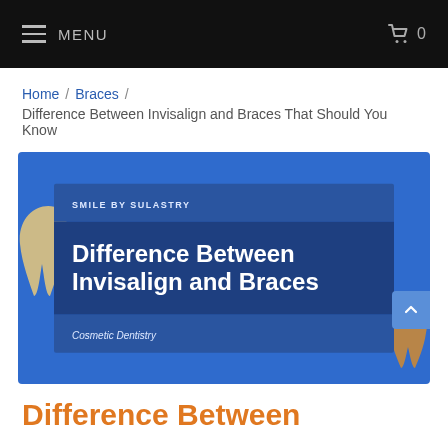MENU  0
Home / Braces / Difference Between Invisalign and Braces That Should You Know
[Figure (illustration): Hero banner image on blue background with a card showing 'SMILE BY SULASTRY', 'Difference Between Invisalign and Braces', 'Cosmetic Dentistry', with decorative tooth shapes on left and right sides]
Difference Between